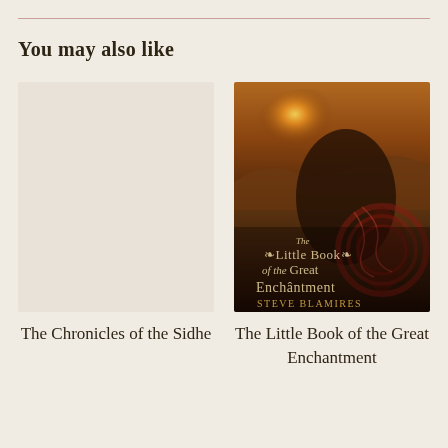You may also like
[Figure (photo): Book cover placeholder – blank light grey cover for The Chronicles of the Sidhe]
[Figure (photo): Book cover for The Little Book of the Great Enchantment by Steve Blamires, showing a Victorian-era man with beard against a sunset landscape with Celtic spiral motifs and ornate title text]
The Chronicles of the Sidhe
The Little Book of the Great Enchantment